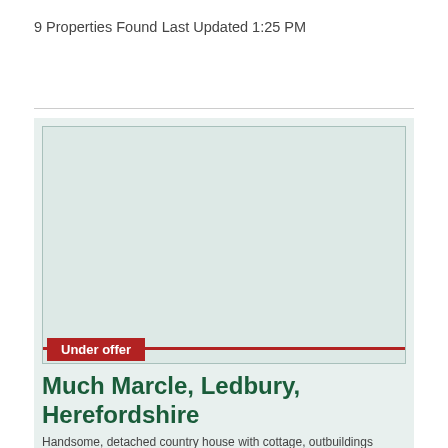9 Properties Found
Last Updated 1:25 PM
[Figure (photo): Property listing image placeholder with light teal background and border. Shows an 'Under offer' badge in red.]
Much Marcle, Ledbury, Herefordshire
Handsome, detached country house with cottage, outbuildings